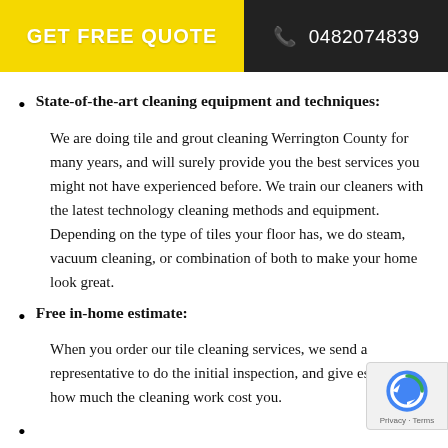GET FREE QUOTE   0482074839
State-of-the-art cleaning equipment and techniques:
We are doing tile and grout cleaning Werrington County for many years, and will surely provide you the best services you might not have experienced before. We train our cleaners with the latest technology cleaning methods and equipment. Depending on the type of tiles your floor has, we do steam, vacuum cleaning, or combination of both to make your home look great.
Free in-home estimate:
When you order our tile cleaning services, we send a representative to do the initial inspection, and give estimate of how much the cleaning work cost you.
100%...